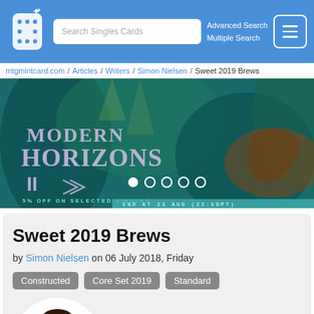Search Singles Cards | Advanced Search | Multiple Search
mtgmintcard.com / Articles / Writers / Simon Nielsen / Sweet 2019 Brews
[Figure (illustration): Modern Horizons II banner advertisement. Dark fantasy game artwork with text: MODERN HORIZONS II, 5% OFF ON SELECTED SINGLES, END AT 23 AUG (23:59PT). Carousel with 5 dots, first dot active.]
Sweet 2019 Brews
by Simon Nielsen on 06 July 2018, Friday
Constructed  Core Set 2019  Standard
[Figure (photo): Circular portrait photo of Simon Nielsen, a man with glasses, dark curly hair, and a beard, wearing a white and red jersey with 'Ultimate Guard' branding, arms crossed, smiling.]